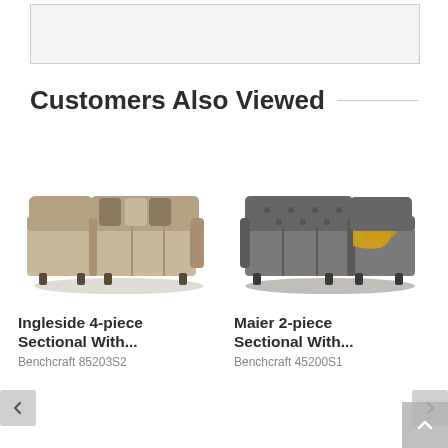[Figure (screenshot): Top partial image placeholder box (light gray, with border)]
Customers Also Viewed
[Figure (photo): Ingleside 4-piece sectional sofa in beige/taupe with chaise and accent pillows]
Ingleside 4-piece Sectional With...
Benchcraft 85203S2
[Figure (photo): Maier 2-piece sectional sofa in dark gray with chaise and yellow throw blanket]
Maier 2-piece Sectional With...
Benchcraft 45200S1